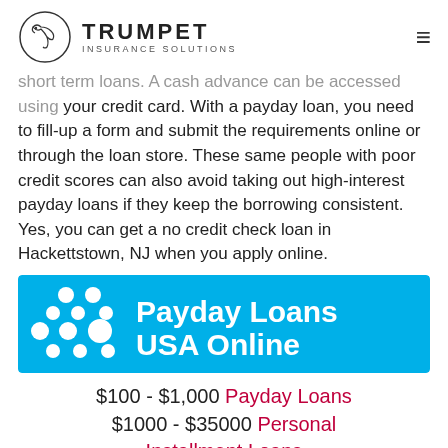TRUMPET INSURANCE SOLUTIONS
short term loans. A cash advance can be accessed using your credit card. With a payday loan, you need to fill-up a form and submit the requirements online or through the loan store. These same people with poor credit scores can also avoid taking out high-interest payday loans if they keep the borrowing consistent. Yes, you can get a no credit check loan in Hackettstown, NJ when you apply online.
[Figure (logo): Payday Loans USA Online advertisement banner with blue background and white dot pattern logo]
$100 - $1,000 Payday Loans $1000 - $35000 Personal Installment Loans